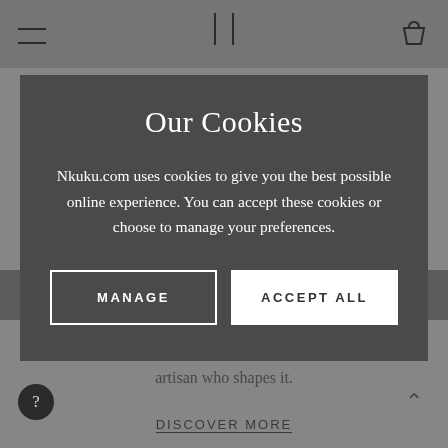[Figure (screenshot): Greyed-out website background showing navigation bar at top and partial text about iron, brass or aluminium artisan crafts, with a DISCOVER MORE link and scroll/help buttons]
Our Cookies
Nkuku.com uses cookies to give you the best possible online experience. You can accept these cookies or choose to manage your preferences.
MANAGE
ACCEPT ALL